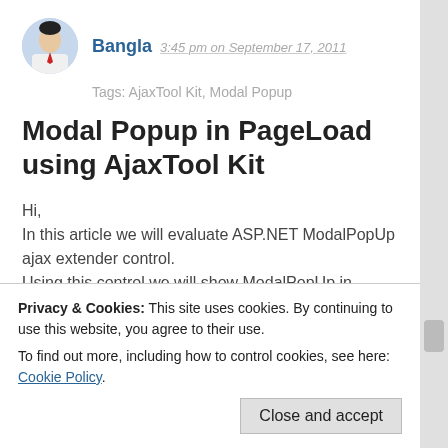Bangla 3:45 pm on September 17, 2011
Tags: AjaxTool Kit, Modal Popup
Modal Popup in PageLoad using AjaxTool Kit
Hi,
In this article we will evaluate ASP.NET ModalPopUp ajax extender control.
Using this control we will show ModalPopUp in pageload & this popup should be shown to user only once during the session i.e. popup should not be shown when page is refreshed and should not be shown after returning back to
Privacy & Cookies: This site uses cookies. By continuing to use this website, you agree to their use.
To find out more, including how to control cookies, see here: Cookie Policy.